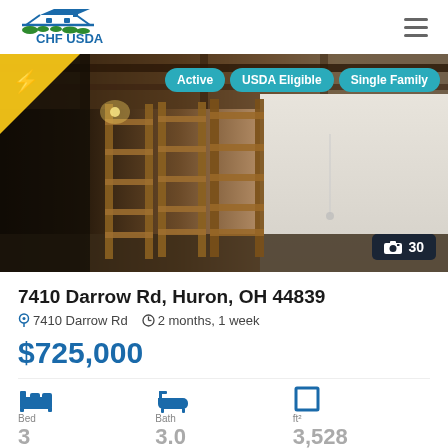[Figure (logo): CHF USDA logo with house icon and grass, blue and green colors]
[Figure (photo): Interior basement/storage room with wooden shelving units, concrete walls, showing exposed ceiling beams. Status badges: Active, USDA Eligible, Single Family. Camera icon with 30 photos indicator.]
7410 Darrow Rd, Huron, OH 44839
7410 Darrow Rd   2 months, 1 week
$725,000
Bed 3   Bath 3.0   ft² 3,528